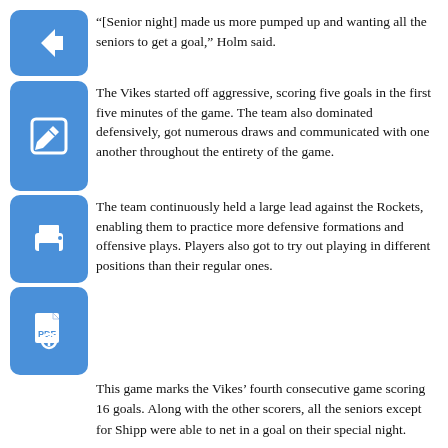“[Senior night] made us more pumped up and wanting all the seniors to get a goal,” Holm said.
The Vikes started off aggressive, scoring five goals in the first five minutes of the game. The team also dominated defensively, got numerous draws and communicated with one another throughout the entirety of the game.
The team continuously held a large lead against the Rockets, enabling them to practice more defensive formations and offensive plays. Players also got to try out playing in different positions than their regular ones.
This game marks the Vikes’ fourth consecutive game scoring 16 goals. Along with the other scorers, all the seniors except for Shipp were able to net in a goal on their special night.
“The team played for us, so it was a fun night,” Holm said. “I’ve created strong friendships that will last a long time since we’re together almost 24/7, so I’ll have to come back and watch the team next year.”